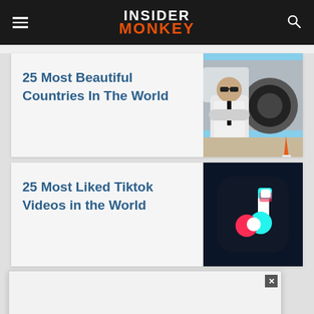INSIDER MONKEY
25 Most Beautiful Countries In The World
[Figure (photo): A pilot in uniform with sunglasses standing with arms crossed in front of an airplane engine on the tarmac]
25 Most Liked Tiktok Videos in the World
[Figure (photo): TikTok app icon logo on dark blue background]
[Figure (screenshot): Advertisement overlay with close button (X)]